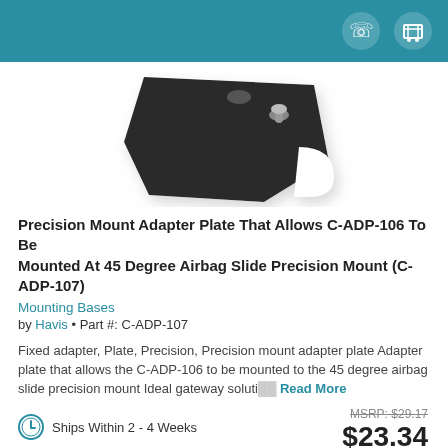Header bar with phone and cart icons
[Figure (photo): Black metal precision mount adapter plate (C-ADP-107) on white background]
Precision Mount Adapter Plate That Allows C-ADP-106 To Be Mounted At 45 Degree Airbag Slide Precision Mount (C-ADP-107)
Mounting Bases
by Havis • Part #: C-ADP-107
Fixed adapter, Plate, Precision, Precision mount adapter plate Adapter plate that allows the C-ADP-106 to be mounted to the 45 degree airbag slide precision mount Ideal gateway soluti… Read More
MSRP: $29.17
$23.34
Save 19%
Call for Availability
Ships Within 2 - 4 Weeks